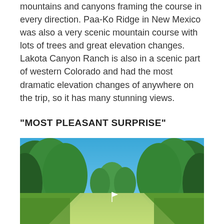mountains and canyons framing the course in every direction. Paa-Ko Ridge in New Mexico was also a very scenic mountain course with lots of trees and great elevation changes. Lakota Canyon Ranch is also in a scenic part of western Colorado and had the most dramatic elevation changes of anywhere on the trip, so it has many stunning views.
“MOST PLEASANT SURPRISE”
[Figure (photo): A golf course fairway lined with tall green trees on both sides, with a clear blue sky above. The fairway leads toward a flag pin in the distance.]